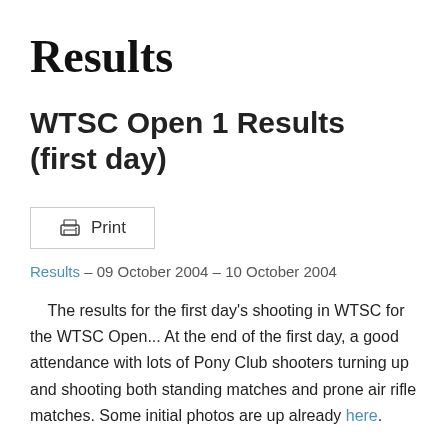Results
WTSC Open 1 Results (first day)
🖨 Print
Results – 09 October 2004 – 10 October 2004
The results for the first day's shooting in WTSC for the WTSC Open... At the end of the first day, a good attendance with lots of Pony Club shooters turning up and shooting both standing matches and prone air rifle matches. Some initial photos are up already here.